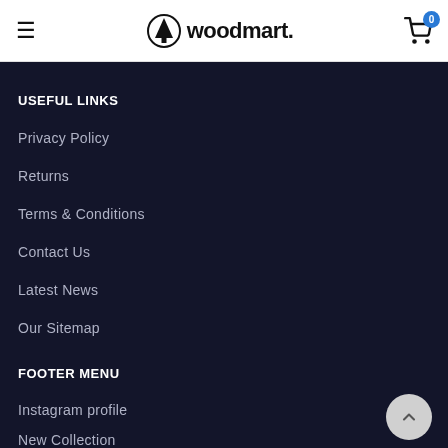woodmart. [hamburger menu, logo, cart icon with badge 0]
USEFUL LINKS
Privacy Policy
Returns
Terms & Conditions
Contact Us
Latest News
Our Sitemap
FOOTER MENU
Instagram profile
New Collection